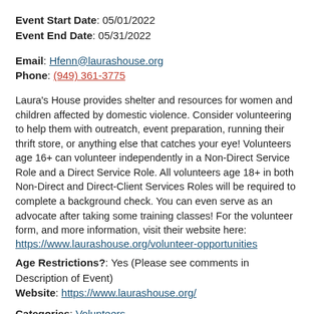Event Start Date: 05/01/2022
Event End Date: 05/31/2022
Email: Hfenn@laurashouse.org
Phone: (949) 361-3775
Laura's House provides shelter and resources for women and children affected by domestic violence. Consider volunteering to help them with outreatch, event preparation, running their thrift store, or anything else that catches your eye! Volunteers age 16+ can volunteer independently in a Non-Direct Service Role and a Direct Service Role. All volunteers age 18+ in both Non-Direct and Direct-Client Services Roles will be required to complete a background check. You can even serve as an advocate after taking some training classes! For the volunteer form, and more information, visit their website here: https://www.laurashouse.org/volunteer-opportunities
Age Restrictions?: Yes (Please see comments in Description of Event)
Website: https://www.laurashouse.org/
Categories: Volunteers
Keywords: ABUSE, ADULTS, BENEFIT, CLEANING, CLOTHES, DONATIONS, FAMILIES, FOOD, GIFTS, HOMELESSNESS, INFANTS, POVERTY, WOMEN, YOUTH